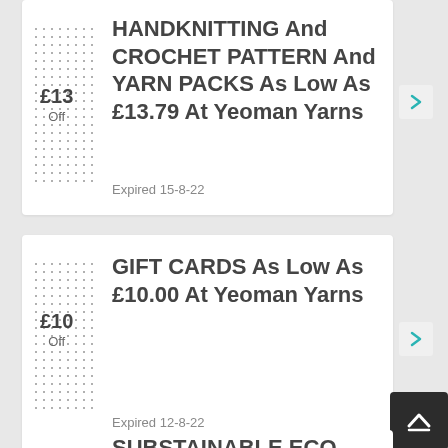£13 Off
HANDKNITTING And CROCHET PATTERN And YARN PACKS As Low As £13.79 At Yeoman Yarns
Expired 15-8-22
£10 Off
GIFT CARDS As Low As £10.00 At Yeoman Yarns
Expired 12-8-22
SUBSTAINABLE ECO